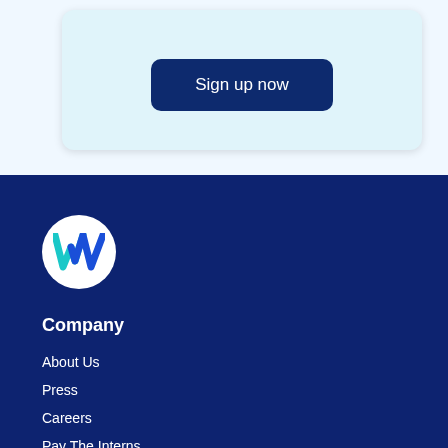Sign up now
[Figure (logo): Workhoppers logo: white circle with a teal and blue 'W' letter mark]
Company
About Us
Press
Careers
Pay The Interns